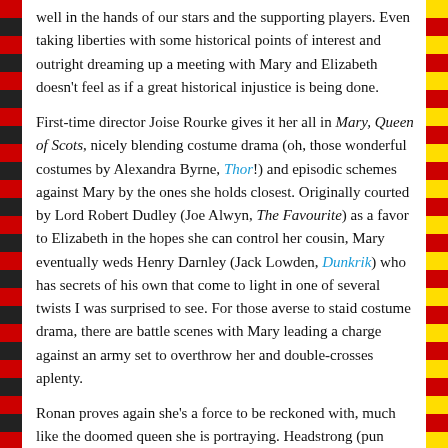well in the hands of our stars and the supporting players. Even taking liberties with some historical points of interest and outright dreaming up a meeting with Mary and Elizabeth doesn't feel as if a great historical injustice is being done.
First-time director Joise Rourke gives it her all in Mary, Queen of Scots, nicely blending costume drama (oh, those wonderful costumes by Alexandra Byrne, Thor!) and episodic schemes against Mary by the ones she holds closest. Originally courted by Lord Robert Dudley (Joe Alwyn, The Favourite) as a favor to Elizabeth in the hopes she can control her cousin, Mary eventually weds Henry Darnley (Jack Lowden, Dunkrik) who has secrets of his own that come to light in one of several twists I was surprised to see. For those averse to staid costume drama, there are battle scenes with Mary leading a charge against an army set to overthrow her and double-crosses aplenty.
Ronan proves again she's a force to be reckoned with, much like the doomed queen she is portraying. Headstrong (pun intended) but not without compassion, Ronan gives Mary a